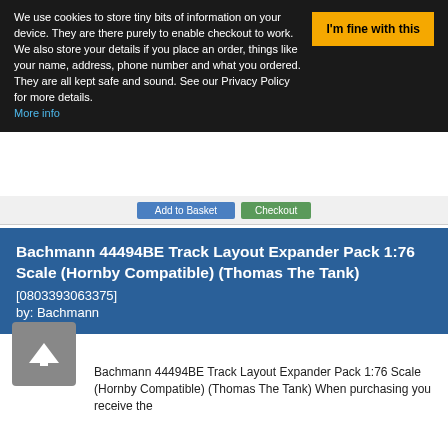We use cookies to store tiny bits of information on your device. They are there purely to enable checkout to work. We also store your details if you place an order, things like your name, address, phone number and what you ordered. They are all kept safe and sound. See our Privacy Policy for more details. More info
I'm fine with this
Bachmann 44494BE Track Layout Expander Pack 1:76 Scale (Hornby Compatible) (Thomas The Tank)
[0803393063375]
by: Bachmann
[Figure (photo): Product image of Bachmann E-Z Track Expander Set box, showing track pieces and layout diagrams on a blue background]
Bachmann 44494BE Track Layout Expander Pack 1:76 Scale (Hornby Compatible) (Thomas The Tank) When purchasing you receive the...